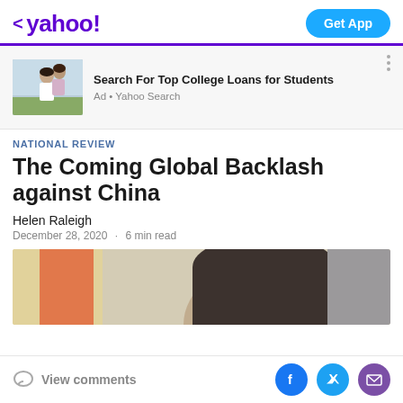< yahoo! | Get App
[Figure (infographic): Advertisement banner with image of two young women laughing outdoors. Ad text: Search For Top College Loans for Students. Ad • Yahoo Search]
NATIONAL REVIEW
The Coming Global Backlash against China
Helen Raleigh
December 28, 2020  ·  6 min read
[Figure (photo): Partial photo showing top of a person's head with dark hair, with what appears to be a Chinese flag in the background]
View comments | Facebook share | Twitter share | Email share